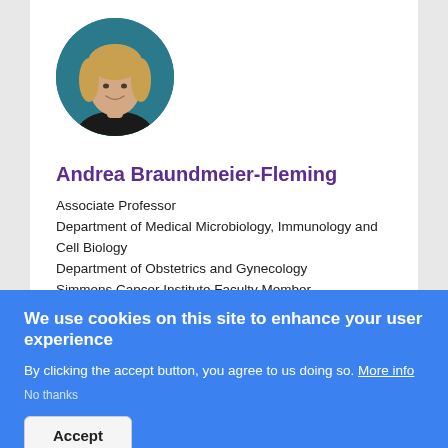[Figure (photo): Circular headshot photo of Andrea Braundmeier-Fleming, a woman with blonde hair, smiling, against a dark teal background]
Andrea Braundmeier-Fleming
Associate Professor
Department of Medical Microbiology, Immunology and Cell Biology
Department of Obstetrics and Gynecology
Simmons Cancer Institute Faculty Member
We use cookies on this site to enhance your user experience
By clicking the accept button, you agree to us doing so. More info
No thanks